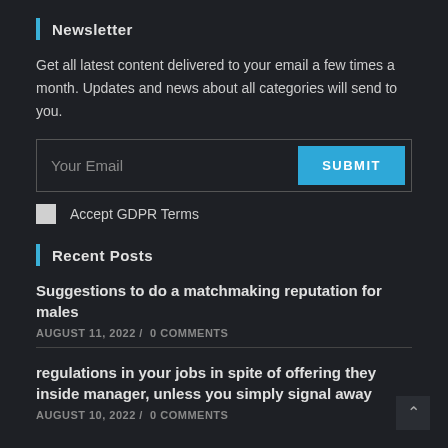Newsletter
Get all latest content delivered to your email a few times a month. Updates and news about all categories will send to you.
[Figure (other): Email subscription form with 'Your Email' input field and a cyan 'SUBMIT' button]
Accept GDPR Terms
Recent Posts
Suggestions to do a matchmaking reputation for males
AUGUST 11, 2022 /  0 COMMENTS
regulations in your jobs in spite of offering they inside manager, unless you simply signal away
AUGUST 10, 2022 /  0 COMMENTS